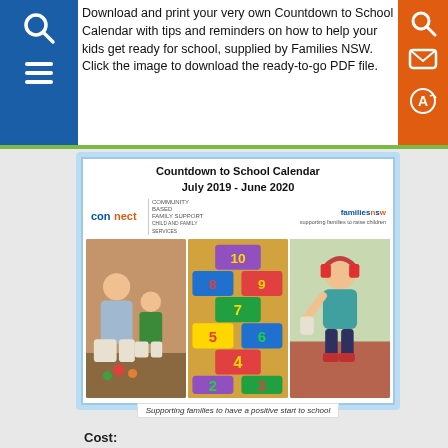Download and print your very own Countdown to School Calendar with tips and reminders on how to help your kids get ready for school, supplied by Families NSW. Click the image to download the ready-to-go PDF file.
[Figure (illustration): Countdown to School Calendar preview image for July 2019 - June 2020, featuring connect Community Based Family Support and Families NSW logos, with three photos: adult and child playing, colorful hopscotch numbers on floor, and girl wearing headphones. Tagline: Supporting families to have a positive start to school.]
Cost:
FREE
Age Groups:
4-6